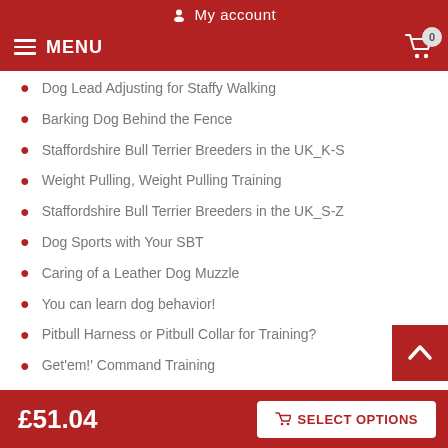My account
MENU  0
Dog Lead Adjusting for Staffy Walking
Barking Dog Behind the Fence
Staffordshire Bull Terrier Breeders in the UK_K-S
Weight Pulling, Weight Pulling Training
Staffordshire Bull Terrier Breeders in the UK_S-Z
Dog Sports with Your SBT
Caring of a Leather Dog Muzzle
You can learn dog behavior!
Pitbull Harness or Pitbull Collar for Training?
Get'em!' Command Training
£51.04   SELECT OPTIONS